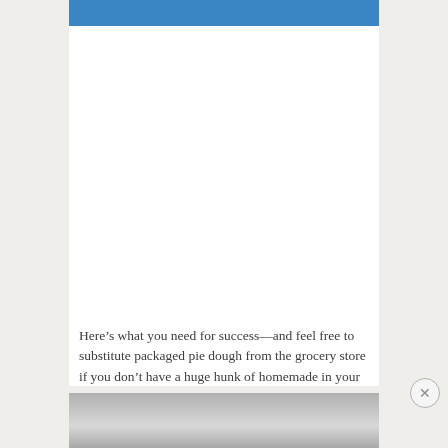[Figure (photo): Top portion of a blue-background food/cooking photo, partially visible at top of page]
Here’s what you need for success—and feel free to substitute packaged pie dough from the grocery store if you don’t have a huge hunk of homemade in your freezer
[Figure (photo): Partially visible grayscale/muted photo at bottom of page, appears to be a kitchen or food scene]